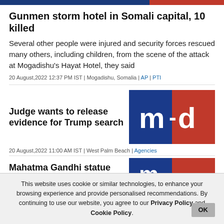[Figure (other): Top color bar with blue and red sections]
Gunmen storm hotel in Somali capital, 10 killed
Several other people were injured and security forces rescued many others, including children, from the scene of the attack at Mogadishu's Hayat Hotel, they said
20 August,2022 12:37 PM IST | Mogadishu, Somalia | AP | PTI
Judge wants to release evidence for Trump search
[Figure (logo): m-d logo with blue and red squares]
20 August,2022 11:00 AM IST | West Palm Beach | Agencies
Mahatma Gandhi statue outside
[Figure (logo): Partial m-d logo]
This website uses cookie or similar technologies, to enhance your browsing experience and provide personalised recommendations. By continuing to use our website, you agree to our Privacy Policy and Cookie Policy.